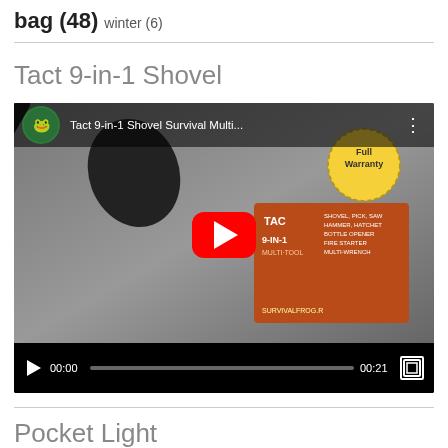bag (48)  winter (6)
Tact 9-in-1 Shovel
[Figure (screenshot): YouTube video embed showing 'Tact 9-in-1 Shovel Survival Multi...' with play button, timestamp 00:00 / 00:21, blue frog channel icon, warranty badge, product box visible]
Pocket Light
[Figure (screenshot): Partial YouTube video embed at bottom showing channel icon and partial title text]